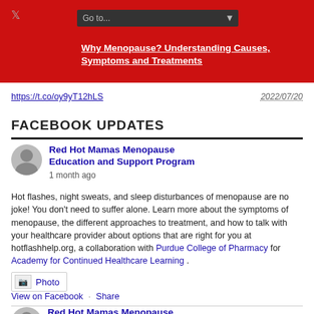Why Menopause? Understanding Causes, Symptoms and Treatments
https://t.co/oy9yT12hLS
2022/07/20
FACEBOOK UPDATES
Red Hot Mamas Menopause Education and Support Program
1 month ago
Hot flashes, night sweats, and sleep disturbances of menopause are no joke! You don't need to suffer alone. Learn more about the symptoms of menopause, the different approaches to treatment, and how to talk with your healthcare provider about options that are right for you at hotflashhelp.org, a collaboration with Purdue College of Pharmacy for Academy for Continued Healthcare Learning .
Photo
View on Facebook · Share
Red Hot Mamas Menopause Education and Support Program